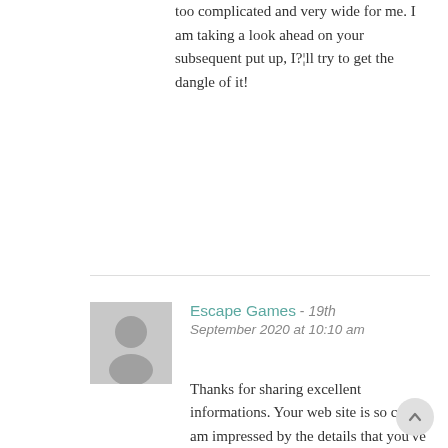too complicated and very wide for me. I am taking a look ahead on your subsequent put up, I?¦ll try to get the dangle of it!
Escape Games - 19th September 2020 at 10:10 am
Thanks for sharing excellent informations. Your web site is so cool. I am impressed by the details that you've on this web site. It reveals how nicely you understand this subject. Bookmarked this website page, will come back for more articles. You, my friend, ROCK! I found simply the info I already